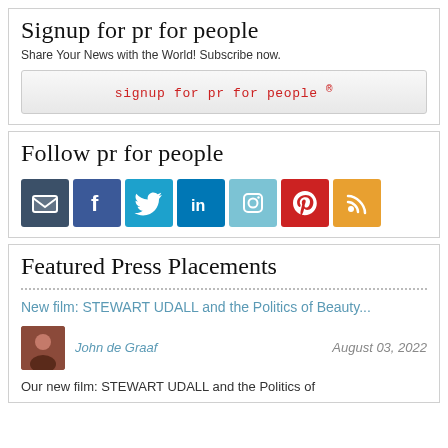Signup for pr for people
Share Your News with the World! Subscribe now.
signup for pr for people ®
Follow pr for people
[Figure (infographic): Row of 7 social media icon buttons: email (dark blue), Facebook (blue), Twitter (light blue), LinkedIn (blue), Instagram (light blue), Pinterest (red), RSS (orange)]
Featured Press Placements
New film: STEWART UDALL and the Politics of Beauty...
John de Graaf    August 03, 2022
Our new film: STEWART UDALL and the Politics of